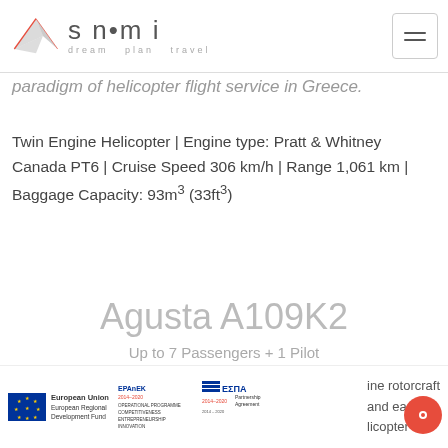snami — dream plan travel
paradigm of helicopter flight service in Greece.
Twin Engine Helicopter | Engine type: Pratt & Whitney Canada PT6 | Cruise Speed 306 km/h | Range 1,061 km | Baggage Capacity: 93m³ (33ft³)
Agusta A109K2
Up to 7 Passengers + 1 Pilot
European Union European Regional Development Fund | EPAnEK 2014–2020 Operational Programme Competitiveness Entrepreneurship Innovation | ΕΣΠΑ 2014–2020 Partnership Agreement | ine rotorcraft and ease of licopter